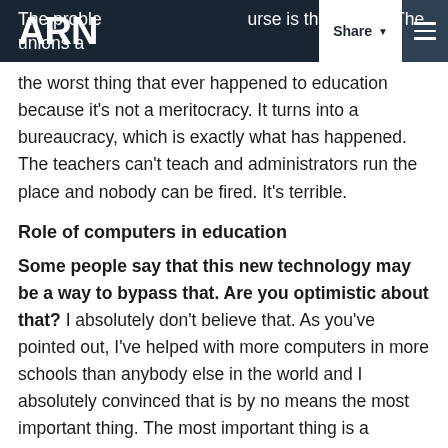ARN | Share | Menu
The problem of course is the unions. The unions are the worst thing that ever happened to education because it's not a meritocracy. It turns into a bureaucracy, which is exactly what has happened. The teachers can't teach and administrators run the place and nobody can be fired. It's terrible.
Role of computers in education
Some people say that this new technology may be a way to bypass that. Are you optimistic about that? I absolutely don't believe that. As you've pointed out, I've helped with more computers in more schools than anybody else in the world and I absolutely convinced that is by no means the most important thing. The most important thing is a person. A person who incites your curiosity and feeds your curiosity;